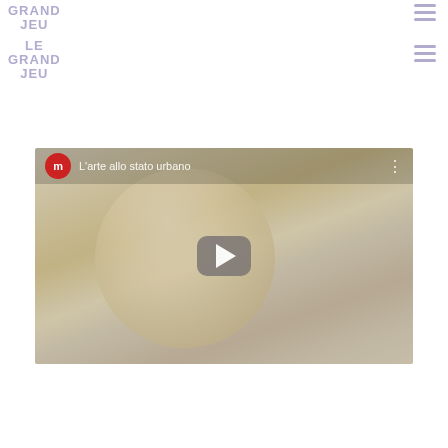LE GRAND JEU / LE GRAND JEU
[Figure (screenshot): YouTube video embed thumbnail showing a stylized face (Marilyn Monroe-like sculpture) with the title 'L'arte allo stato urbano' and a play button overlay]